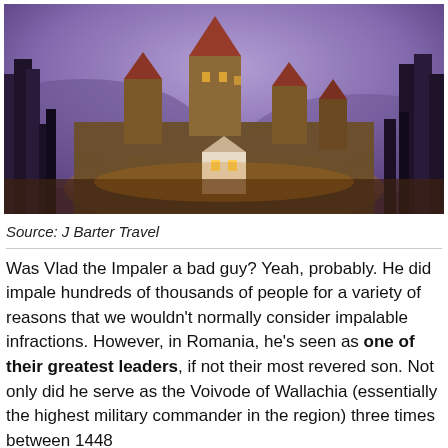[Figure (photo): Bran Castle (Dracula's castle) illuminated at dusk with purple sky and surrounding forest, photographed at night with warm orange lighting on stone walls and towers.]
Source: J Barter Travel
Was Vlad the Impaler a bad guy? Yeah, probably. He did impale hundreds of thousands of people for a variety of reasons that we wouldn't normally consider impalable infractions. However, in Romania, he's seen as one of their greatest leaders, if not their most revered son. Not only did he serve as the Voivode of Wallachia (essentially the highest military commander in the region) three times between 1448